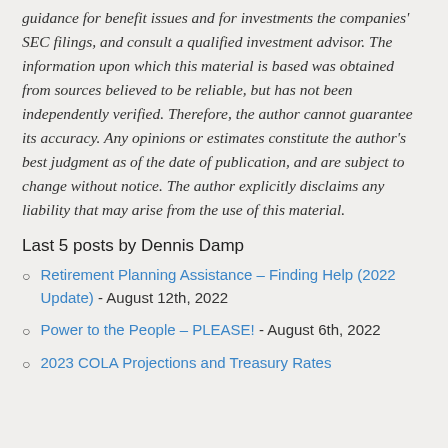guidance for benefit issues and for investments the companies' SEC filings, and consult a qualified investment advisor. The information upon which this material is based was obtained from sources believed to be reliable, but has not been independently verified. Therefore, the author cannot guarantee its accuracy. Any opinions or estimates constitute the author's best judgment as of the date of publication, and are subject to change without notice. The author explicitly disclaims any liability that may arise from the use of this material.
Last 5 posts by Dennis Damp
Retirement Planning Assistance – Finding Help (2022 Update) - August 12th, 2022
Power to the People – PLEASE! - August 6th, 2022
2023 COLA Projections and Treasury Rates